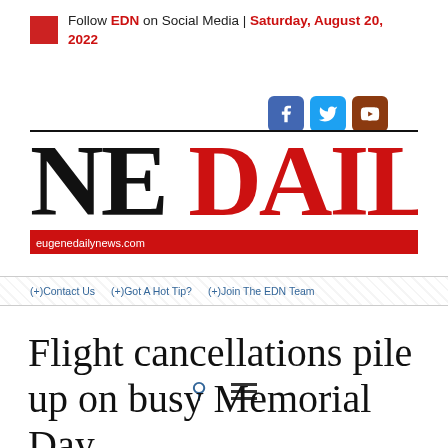Follow EDN on Social Media | Saturday, August 20, 2022
[Figure (logo): Eugene Daily News masthead logo with NE DAILY N text in black and red, eugenedailynews.com URL bar]
(+)Contact Us  (+)Got A Hot Tip?  (+)Join The EDN Team
Flight cancellations pile up on busy Memorial Day